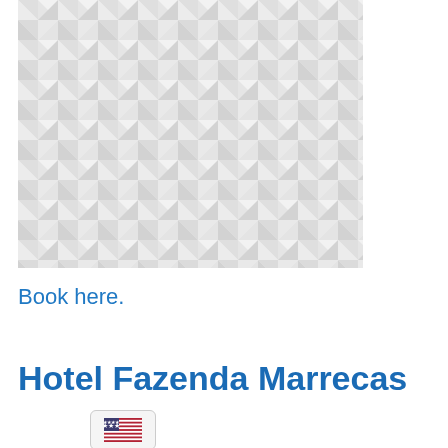[Figure (illustration): Geometric triangular pattern in light gray and white tones, arranged in a repeating diamond/cube-like mosaic pattern, serving as a hero image placeholder]
Book here.
Hotel Fazenda Marrecas
[Figure (illustration): US flag emoji inside a rounded rectangular button/badge element]